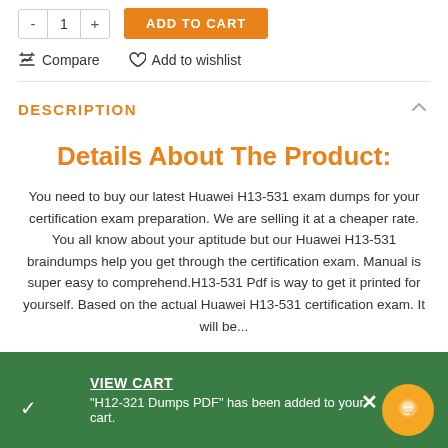- 1 + ADD TO CART
Compare  Add to wishlist
DESCRIPTION
Details About The Product:
You need to buy our latest Huawei H13-531 exam dumps for your certification exam preparation. We are selling it at a cheaper rate. You all know about your aptitude but our Huawei H13-531 braindumps help you get through the certification exam. Manual is super easy to comprehend.H13-531 Pdf is way to get it printed for yourself. Based on the actual Huawei H13-531 certification exam. It will be...
VIEW CART
"H12-321 Dumps PDF" has been added to your cart.